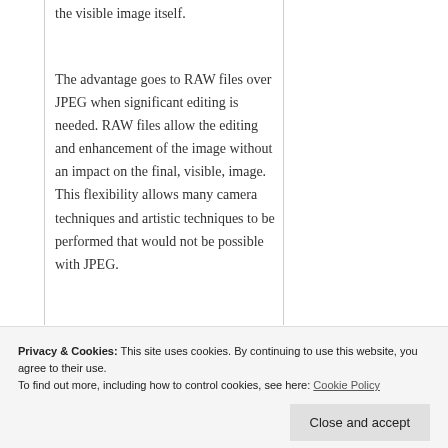the visible image itself.
The advantage goes to RAW files over JPEG when significant editing is needed. RAW files allow the editing and enhancement of the image without an impact on the final, visible, image. This flexibility allows many camera techniques and artistic techniques to be performed that would not be possible with JPEG.
Privacy & Cookies: This site uses cookies. By continuing to use this website, you agree to their use.
To find out more, including how to control cookies, see here: Cookie Policy
Close and accept
This limits the camera's ability to